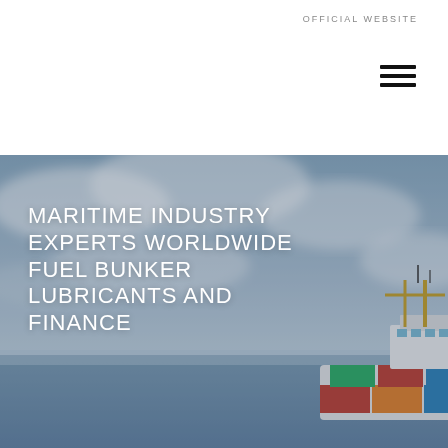OFFICIAL WEBSITE
[Figure (illustration): Hamburger menu icon (three horizontal lines) in top right of header]
[Figure (photo): Hero background image showing a large container ship at sea with a cloudy blue-grey sky. The ship has a white superstructure with yellow crane equipment and coloured shipping containers visible.]
MARITIME INDUSTRY EXPERTS WORLDWIDE FUEL BUNKER LUBRICANTS AND FINANCE